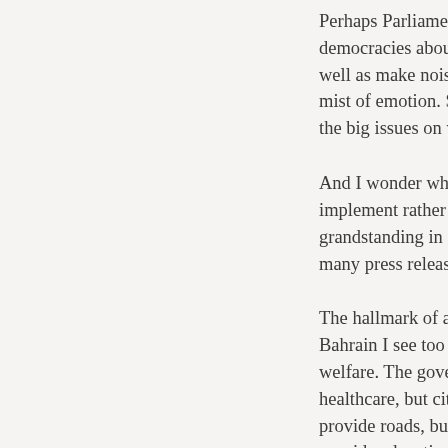Perhaps Parliamentarians should take some lessons from other democracies about what it takes to be effective MPs – how to lobby well as make noise publicly. Argue points coherently rather than in a mist of emotion. Stop blaming the usual suspects for the big issues on which they can gain national consensus.
And I wonder whether Ministers should learn to persuade and implement rather than obfuscate, and go more quietly about grandstanding in front of the media. I see too many meetings, too many press releases, too many photo opportunities.
The hallmark of a mature political system is also the attitude of Bahrain I see too much reliance on the state as the universal provider of welfare. The government cannot provide employment for all, can provide healthcare, but citizens need to take greater responsibility for their own; provide roads, but cannot keep repaving highways scarred by diggers; provide education, but cannot provide effective education without the will and involvement of parents. It can provide emergency services, but cannot do much to stop irresponsible drivers, negligent property owners who ignore health and safety regulations.
Perhaps the citizens of Bahrain should ask themselves how they dealt with the effects of Hurricane Sandy on the East Coast of America, and shown the same level of self-help, resilience, community spirit and will that the people and the authorities of New York and